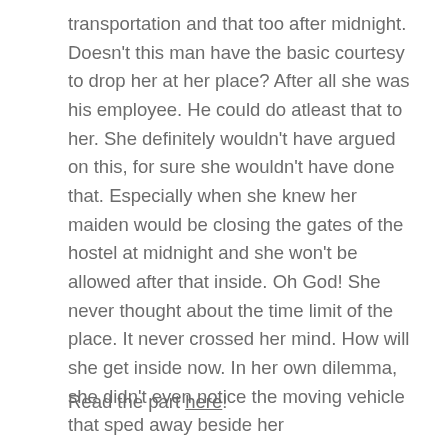transportation and that too after midnight. Doesn't this man have the basic courtesy to drop her at her place? After all she was his employee. He could do atleast that to her. She definitely wouldn't have argued on this, for sure she wouldn't have done that. Especially when she knew her maiden would be closing the gates of the hostel at midnight and she won't be allowed after that inside. Oh God! She never thought about the time limit of the place. It never crossed her mind. How will she get inside now. In her own dilemma, she didn't even notice the moving vehicle that sped away beside her
Read the part here!